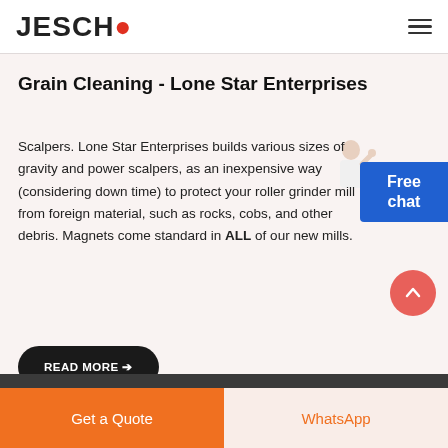JESCO
Grain Cleaning - Lone Star Enterprises
Scalpers. Lone Star Enterprises builds various sizes of gravity and power scalpers, as an inexpensive way (considering down time) to protect your roller grinder mill from foreign material, such as rocks, cobs, and other debris. Magnets come standard in ALL of our new mills.
READ MORE →
Free chat
Get a Quote
WhatsApp